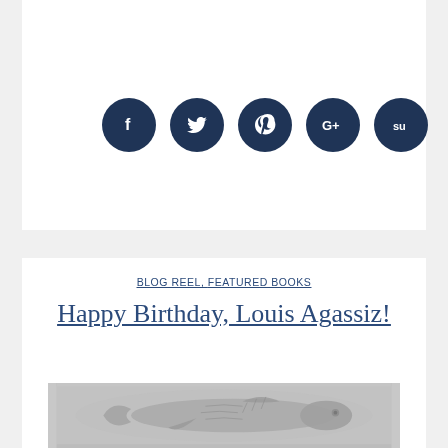[Figure (infographic): Five dark navy circular social media icons: Facebook (f), Twitter (bird), Pinterest (p), Google+ (G+), StumbleUpon (su)]
BLOG REEL, FEATURED BOOKS
Happy Birthday, Louis Agassiz!
[Figure (photo): Gray-toned relief sculpture or fossil-like image of a fish]